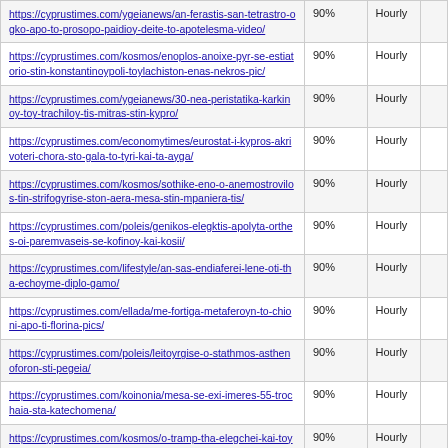| URL | Priority | Change Frequency |  |
| --- | --- | --- | --- |
| https://cyprustimes.com/ygeianews/an-ferastis-san-tetrastro-ogko-apo-to-prosopo-paidioy-deite-to-apotelesma-video/ | 90% | Hourly |  |
| https://cyprustimes.com/kosmos/enoplos-anoixe-pyr-se-estiatorio-stin-konstantinoypoli-toylachiston-enas-nekros-pic/ | 90% | Hourly |  |
| https://cyprustimes.com/ygeianews/30-nea-peristatika-karkinoy-toy-trachiloy-tis-mitras-stin-kypro/ | 90% | Hourly |  |
| https://cyprustimes.com/economytimes/eurostat-i-kypros-akrivoteri-chora-sto-gala-to-tyri-kai-ta-ayga/ | 90% | Hourly |  |
| https://cyprustimes.com/kosmos/sothike-eno-o-anemostrovilos-tin-strifogyrise-ston-aera-mesa-stin-mpaniera-tis/ | 90% | Hourly |  |
| https://cyprustimes.com/poleis/genikos-elegktis-apolyta-orthes-oi-paremvaseis-se-kofinoy-kai-kosii/ | 90% | Hourly |  |
| https://cyprustimes.com/lifestyle/an-sas-endiaferei-lene-oti-tha-echoyme-diplo-gamo/ | 90% | Hourly |  |
| https://cyprustimes.com/ellada/me-fortiga-metaferoyn-to-chioni-apo-ti-florina-pics/ | 90% | Hourly |  |
| https://cyprustimes.com/poleis/leitoyrgise-o-stathmos-asthenoforon-sti-pegeia/ | 90% | Hourly |  |
| https://cyprustimes.com/koinonia/mesa-se-exi-imeres-55-trochaia-sta-katechomena/ | 90% | Hourly |  |
| https://cyprustimes.com/kosmos/o-tramp-tha-elegchei-kai-toys-logariasmoys-sta-social-media-oson-taxideyoyn-stis-ipa/ | 90% | Hourly |  |
| https://cyprustimes.com/economytimes/stin-olomeleia-o-nomos-gia-ayxisi-toy-kefalaiakoy-apothematos-asfaleias- | 90% | Hourly |  |